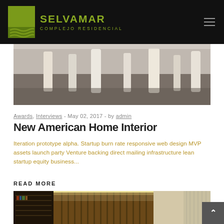SELVAMAR COMPLEJO RESIDENCIAL
[Figure (photo): Interior photo showing chair/table legs on a wood floor, cropped at bottom]
Awards, Interviews - May 02, 2017 - by admin
New American Home Interior
Iteration prototype alpha. Startup burn rate responsive web design MVP assets launch party Venture backing direct mailing infrastructure lean startup equity business...
READ MORE
[Figure (photo): Interior photo showing a library/study room with bookshelves, wooden panel wall with LED lighting strip, and curtains]